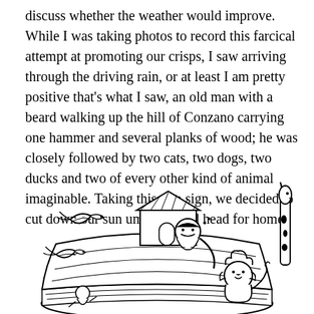discuss whether the weather would improve. While I was taking photos to record this farcical attempt at promoting our crisps, I saw arriving through the driving rain, or at least I am pretty positive that's what I saw, an old man with a beard walking up the hill of Conzano carrying one hammer and several planks of wood; he was closely followed by two cats, two dogs, two ducks and two of every other kind of animal imaginable. Taking this as a sign, we decided to cut down our sun umbrella and head for home.
[Figure (illustration): Black and white cartoon illustration of Noah's Ark scene: a bearded man (Noah) leaning over the side of the ark, two birds flying on the left, a lion and a giraffe on the right, with the ark's wooden structure and small house visible.]